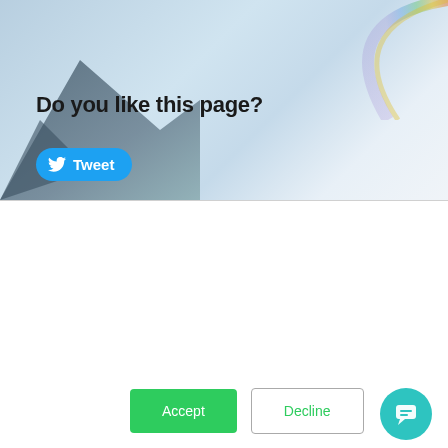[Figure (photo): Hero background image with mountain scenery, light blue sky, and rainbow arc in the upper right corner]
Do you like this page?
[Figure (other): Blue Twitter Tweet button with bird icon]
This website stores cookies on your computer. These cookies are used to collect information about how you interact with our website and allow us to remember you. We use this information in order to improve and customize your browsing experience and for analytics and metrics about our visitors both on this website and other media. To find out more about the cookies we use, see our Privacy Policy.
If you decline, your information won't be tracked when you visit this website. A single cookie will be used in your browser to remember your preference not to be tracked.
[Figure (other): Accept button (green) and Decline button (white with border), and teal chat bubble icon in lower right]